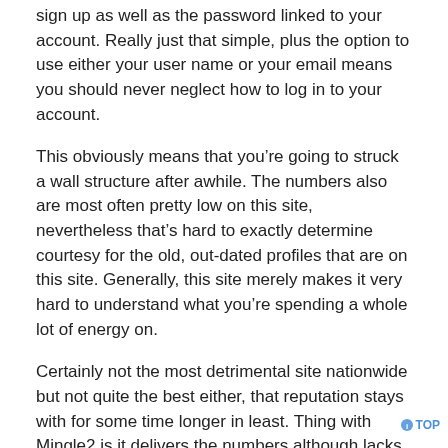sign up as well as the password linked to your account. Really just that simple, plus the option to use either your user name or your email means you should never neglect how to log in to your account.
This obviously means that you’re going to struck a wall structure after awhile. The numbers also are most often pretty low on this site, nevertheless that’s hard to exactly determine courtesy for the old, out-dated profiles that are on this site. Generally, this site merely makes it very hard to understand what you’re spending a whole lot of energy on.
Certainly not the most detrimental site nationwide but not quite the best either, that reputation stays with for some time longer in least. Thing with Mingle2 is it delivers the numbers although lacks the bloody fascinating people, you understand? I might be in my personal 30s yet I like to think im still down with sydney’s great crowd and EH simply makes myself feel a little bit conservative and serious. Yet like I actually said, the numbers happen to be bonzer.
Remember that your subscription to MinglePlus gets automatically reconditioned when it runs out, so you need to deactivate that manually in case you no longer would like to pay for it. You can check your account